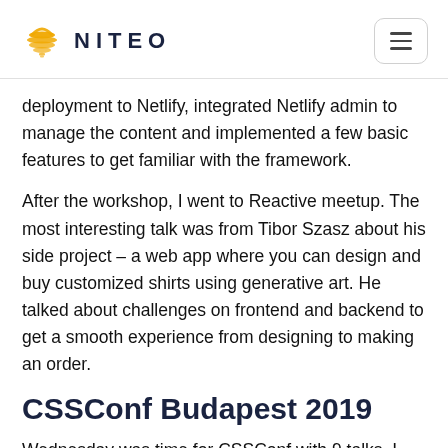NITEO
deployment to Netlify, integrated Netlify admin to manage the content and implemented a few basic features to get familiar with the framework.
After the workshop, I went to Reactive meetup. The most interesting talk was from Tibor Szasz about his side project – a web app where you can design and buy customized shirts using generative art. He talked about challenges on frontend and backend to get a smooth experience from designing to making an order.
CSSConf Budapest 2019
Wednesday was time for CSSConf with 9 talks. I wasn't expecting much from the CSS conference and was pleasantly surprised with inspiring and technical talks.